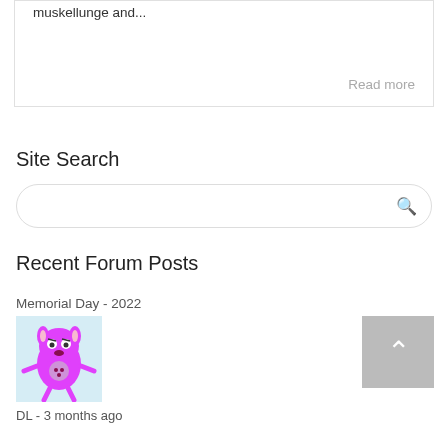muskellunge and...
Read more
Site Search
Recent Forum Posts
Memorial Day - 2022
[Figure (illustration): Pink cartoon monster/character avatar image in a light blue background box]
DL - 3 months ago